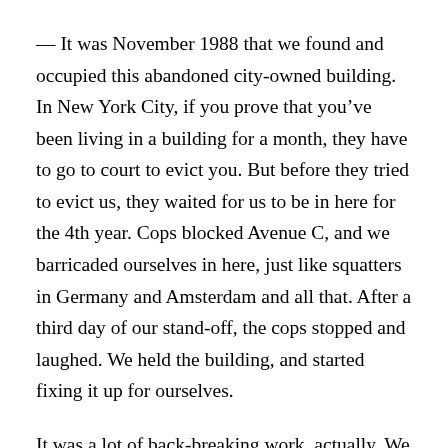— It was November 1988 that we found and occupied this abandoned city-owned building. In New York City, if you prove that you've been living in a building for a month, they have to go to court to evict you. But before they tried to evict us, they waited for us to be in here for the 4th year. Cops blocked Avenue C, and we barricaded ourselves in here, just like squatters in Germany and Amsterdam and all that. After a third day of our stand-off, the cops stopped and laughed. We held the building, and started fixing it up for ourselves.
It was a lot of back-breaking work, actually. We brought sand and concrete from construction sites. Back then, there were many new constructions and